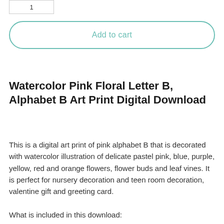[Figure (screenshot): Quantity input box with number 1]
Add to cart
Watercolor Pink Floral Letter B, Alphabet B Art Print Digital Download
This is a digital art print of pink alphabet B that is decorated with watercolor illustration of delicate pastel pink, blue, purple, yellow, red and orange flowers, flower buds and leaf vines. It is perfect for nursery decoration and teen room decoration, valentine gift and greeting card.
What is included in this download: